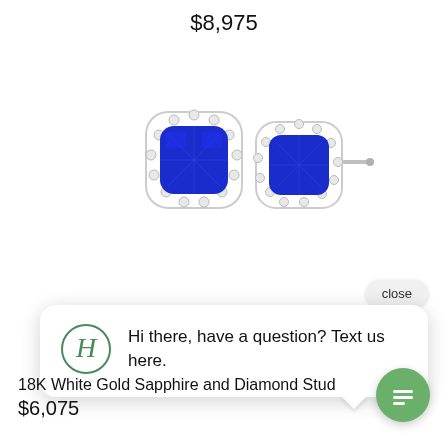$8,975
[Figure (photo): Two blue sapphire and diamond halo stud earrings in 18K white gold, showing front and side view with post visible on right earring]
close
Hi there, have a question? Text us here.
18K White Gold Sapphire and Diamond Stud E
$6,075